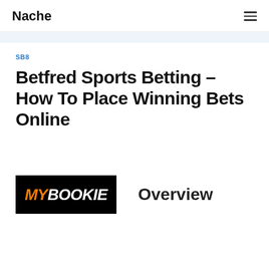Nache
SB8
Betfred Sports Betting – How To Place Winning Bets Online
[Figure (logo): MyBookie logo — black background with MY in orange italic and BOOKIE in white italic]
Overview